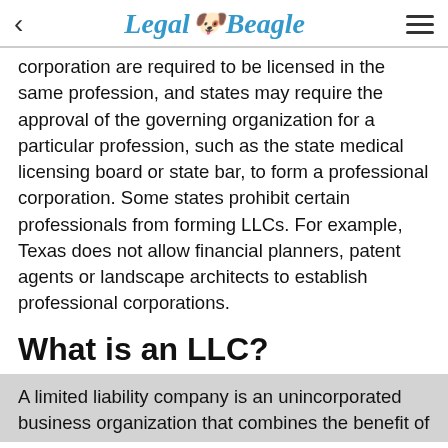Legal Beagle
corporation are required to be licensed in the same profession, and states may require the approval of the governing organization for a particular profession, such as the state medical licensing board or state bar, to form a professional corporation. Some states prohibit certain professionals from forming LLCs. For example, Texas does not allow financial planners, patent agents or landscape architects to establish professional corporations.
What is an LLC?
A limited liability company is an unincorporated business organization that combines the benefit of